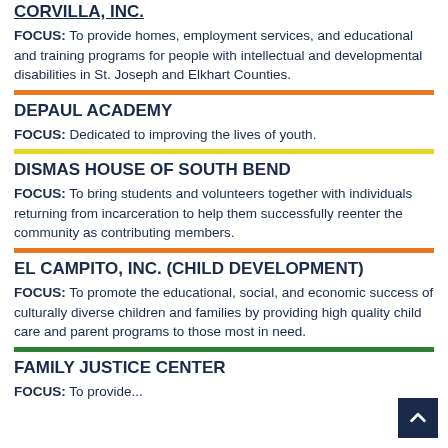CORVILLA, INC.
FOCUS: To provide homes, employment services, and educational and training programs for people with intellectual and developmental disabilities in St. Joseph and Elkhart Counties.
DEPAUL ACADEMY
FOCUS: Dedicated to improving the lives of youth.
DISMAS HOUSE OF SOUTH BEND
FOCUS: To bring students and volunteers together with individuals returning from incarceration to help them successfully reenter the community as contributing members.
EL CAMPITO, INC. (CHILD DEVELOPMENT)
FOCUS: To promote the educational, social, and economic success of culturally diverse children and families by providing high quality child care and parent programs to those most in need.
FAMILY JUSTICE CENTER
FOCUS: To provide...